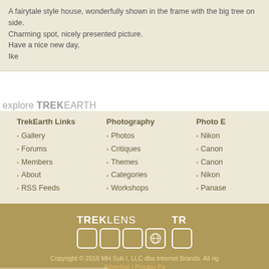A fairytale style house, wonderfully shown in the frame with the big tree on side. Charming spot, nicely presented picture.
Have a nice new day,
Ike
explore TREKEARTH
TrekEarth Links: Gallery, Forums, Members, About, RSS Feeds
Photography: Photos, Critiques, Themes, Categories, Workshops
Photo E: Nikon, Canon, Canon, Nikon, Panase
[Figure (logo): TREKLENS logo with square icons in gold footer]
Copyright © 2018 MH Sub I, LLC dba Internet Brands. All rights reserved. Advertise | Privacy Po...